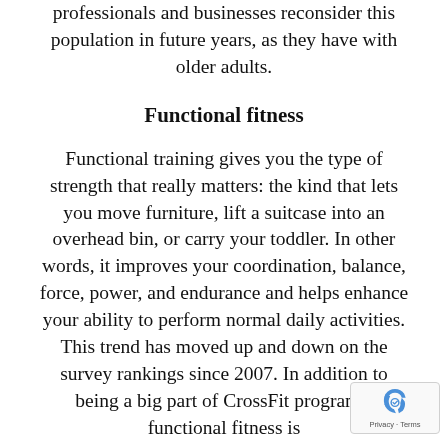professionals and businesses reconsider this population in future years, as they have with older adults.
Functional fitness
Functional training gives you the type of strength that really matters: the kind that lets you move furniture, lift a suitcase into an overhead bin, or carry your toddler. In other words, it improves your coordination, balance, force, power, and endurance and helps enhance your ability to perform normal daily activities. This trend has moved up and down on the survey rankings since 2007. In addition to being a big part of CrossFit programs, functional fitness is